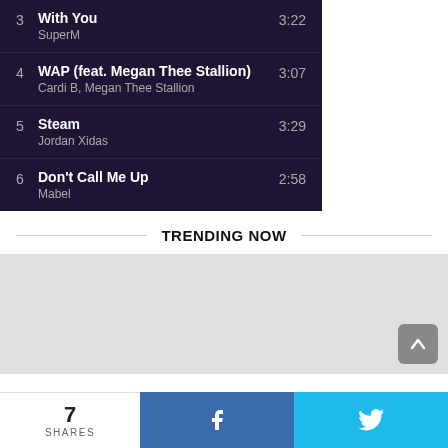3  With You  3:22  SuperM
4  WAP (feat. Megan Thee Stallion)  3:07  Cardi B, Megan Thee Stallion
5  Steam  3:29  Jordan Xidas
6  Don't Call Me Up  2:58  Mabel
TRENDING NOW
[Figure (other): Gray placeholder image area for trending content]
7 SHARES
[Figure (infographic): Bottom share bar with Facebook and Twitter buttons]